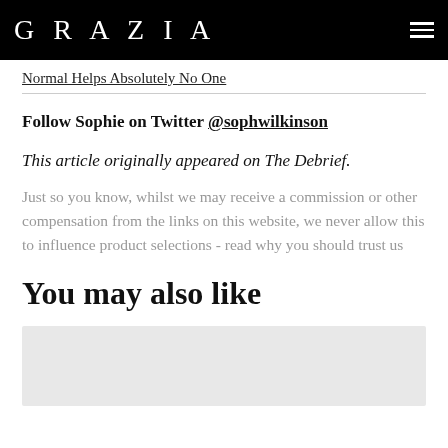GRAZIA
Normal Helps Absolutely No One
Follow Sophie on Twitter @sophwilkinson
This article originally appeared on The Debrief.
Just so you know, whilst we may receive a commission or other compensation from the links on this website, we never allow this to influence product selections - read why you should trust us
You may also like
[Figure (photo): Placeholder image area (light grey rectangle)]